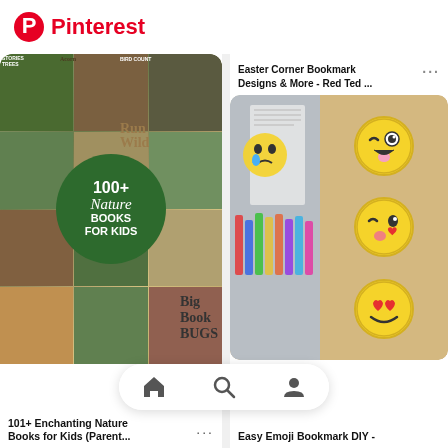Pinterest
[Figure (photo): Collage of nature books for kids with green circle overlay showing '100+ Nature Books FOR KIDS']
101+ Enchanting Nature Books for Kids (Parent...
Easter Corner Bookmark Designs & More - Red Ted ...
[Figure (photo): Emoji bookmark DIY crafts showing emoji faces made from yellow paper as corner bookmarks]
Easy Emoji Bookmark DIY -